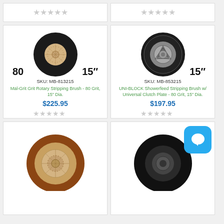[Figure (other): Top strip left - star rating placeholder showing 5 empty/gray stars]
[Figure (other): Top strip right - star rating placeholder showing 5 empty/gray stars]
[Figure (photo): Mal-Grit rotary stripping brush, black bristles, round, top-down view. Labels: 80 (grit), 15 inch (diameter). SKU: MB-813215]
SKU: MB-813215
Mal-Grit Grit Rotary Stripping Brush - 80 Grit, 15" Dia.
$225.95
[Figure (other): Star rating - 5 empty gray stars]
[Figure (photo): UNI-BLOCK showerfeed stripping brush with universal clutch plate, black bristles with gray center hub, round, top-down view. Label: 15 inch (diameter). SKU: MB-853215]
SKU: MB-853215
UNI-BLOCK Showerfeed Stripping Brush w/ Universal Clutch Plate - 80 Grit, 15" Dia.
$197.95
[Figure (other): Star rating - 5 empty gray stars]
[Figure (photo): Brown/copper bristle rotary brush, round, top-down view, beige center hub]
[Figure (photo): Black bristle rotary brush, round, top-down view, with blue chat bubble icon overlay in top-right]